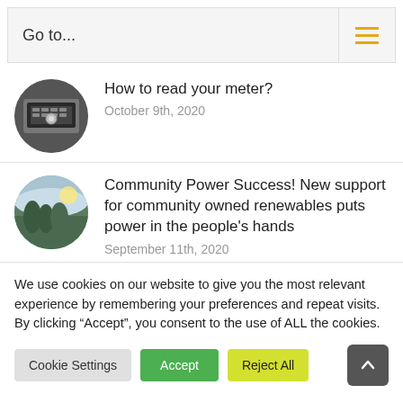Go to...
How to read your meter? — October 9th, 2020
Community Power Success! New support for community owned renewables puts power in the people's hands — September 11th, 2020
We use cookies on our website to give you the most relevant experience by remembering your preferences and repeat visits. By clicking “Accept”, you consent to the use of ALL the cookies.